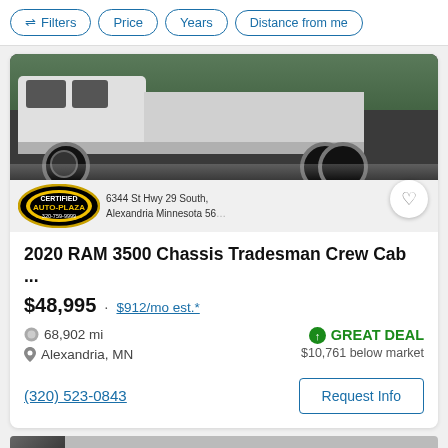Filters | Price | Years | Distance from me
[Figure (photo): White 2020 RAM 3500 Chassis Crew Cab truck photographed from the side, with Certified Auto-Plaza dealer banner at bottom showing address 6344 St Hwy 29 South, Alexandria Minnesota, phone 320-759-9999]
2020 RAM 3500 Chassis Tradesman Crew Cab ...
$48,995 · $912/mo est.*
68,902 mi
Alexandria, MN
GREAT DEAL
$10,761 below market
(320) 523-0843
Request Info